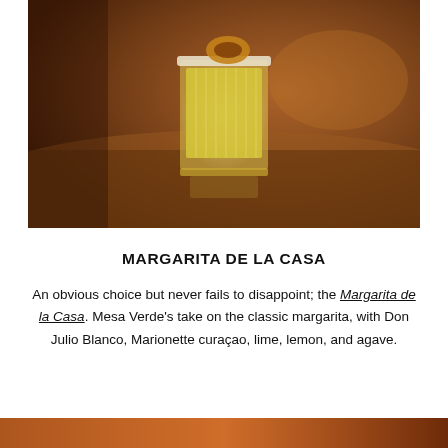[Figure (photo): A glass of margarita with salted rim and garnish on a wooden bar surface, warm amber background lighting]
MARGARITA DE LA CASA
An obvious choice but never fails to disappoint; the Margarita de la Casa. Mesa Verde's take on the classic margarita, with Don Julio Blanco, Marionette curaçao, lime, lemon, and agave.
[Figure (photo): Partial bottom photo strip, warm amber/orange tones]